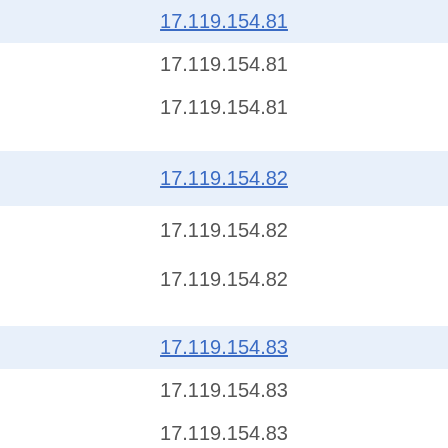17.119.154.81
17.119.154.81
17.119.154.81
17.119.154.82
17.119.154.82
17.119.154.82
17.119.154.83
17.119.154.83
17.119.154.83